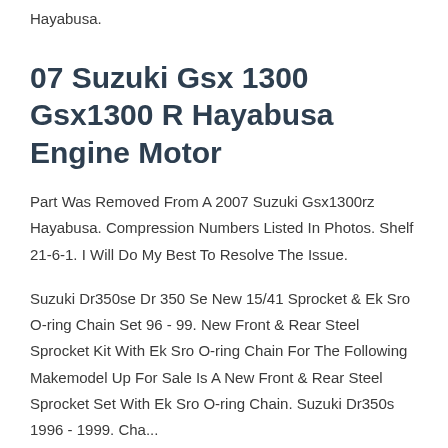Hayabusa.
07 Suzuki Gsx 1300 Gsx1300 R Hayabusa Engine Motor
Part Was Removed From A 2007 Suzuki Gsx1300rz Hayabusa. Compression Numbers Listed In Photos. Shelf 21-6-1. I Will Do My Best To Resolve The Issue.
Suzuki Dr350se Dr 350 Se New 15/41 Sprocket & Ek Sro O-ring Chain Set 96 - 99. New Front & Rear Steel Sprocket Kit With Ek Sro O-ring Chain For The Following Makemodel Up For Sale Is A New Front & Rear Steel Sprocket Set With Ek Sro O-ring Chain. Suzuki Dr350s 1996 - 1999. Cha...